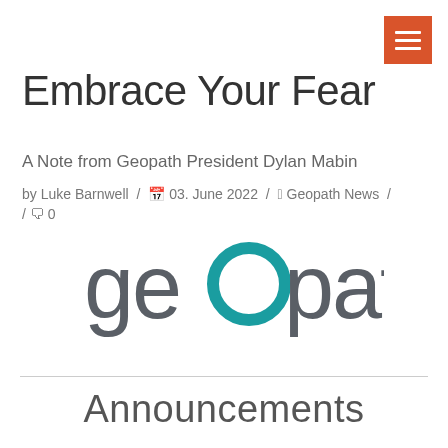[Figure (logo): Orange hamburger menu button in top-right corner]
Embrace Your Fear
A Note from Geopath President Dylan Mabin
by Luke Barnwell / 03. June 2022 / Geopath News / 0
[Figure (logo): Geopath logo: gray lowercase text 'geopath' with a teal circle as the letter 'o']
Announcements